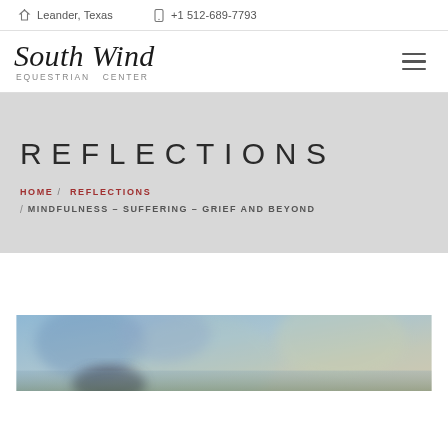Leander, Texas  +1 512-689-7793
[Figure (logo): South Wind Equestrian Center logo with italic serif script and small-caps subtitle]
REFLECTIONS
HOME / REFLECTIONS / MINDFULNESS – SUFFERING – GRIEF AND BEYOND
[Figure (photo): Blurred outdoor photo partially visible at the bottom of the page, appears to show a person outdoors with soft bokeh background]